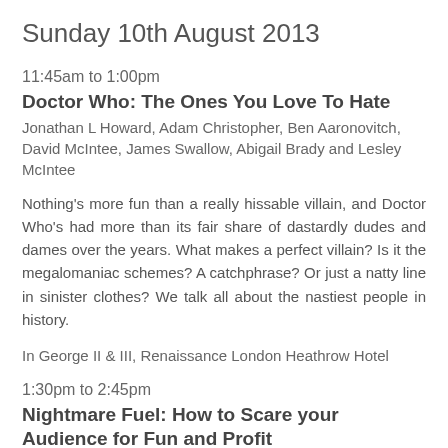Sunday 10th August 2013
11:45am to 1:00pm
Doctor Who: The Ones You Love To Hate
Jonathan L Howard, Adam Christopher, Ben Aaronovitch, David McIntee, James Swallow, Abigail Brady and Lesley McIntee
Nothing's more fun than a really hissable villain, and Doctor Who's had more than its fair share of dastardly dudes and dames over the years. What makes a perfect villain? Is it the megalomaniac schemes? A catchphrase? Or just a natty line in sinister clothes? We talk all about the nastiest people in history.
In George II & III, Renaissance London Heathrow Hotel
1:30pm to 2:45pm
Nightmare Fuel: How to Scare your Audience for Fun and Profit